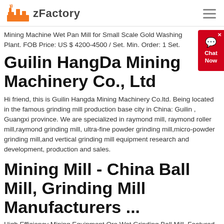zFactory
Mining Machine Wet Pan Mill for Small Scale Gold Washing Plant. FOB Price: US $ 4200-4500 / Set. Min. Order: 1 Set.
Guilin HangDa Mining Machinery Co., Ltd
Hi friend, this is Guilin Hangda Mining Machinery Co.ltd. Being located in the famous grinding mill production base city in China: Guilin , Guangxi province. We are specialized in raymond mill, raymond roller mill,raymond grinding mill, ultra-fine powder grinding mill,micro-powder grinding mill,and vertical grinding mill equipment research and development, production and sales.
Mining Mill - China Ball Mill, Grinding Mill Manufacturers ...
High Efficiency Mining Equipment Ore Wet Grinding Ball Mill. Featured Product. FOB Price: $16000 - $70000 / set. Min. Order: 1 set. High Efficiency